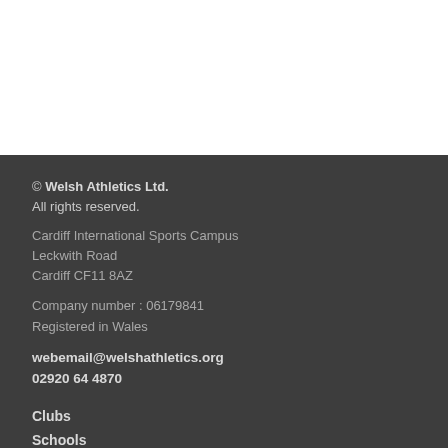© Welsh Athletics Ltd. All rights reserved.
Cardiff International Sports Campus
Leckwith Road
Cardiff CF11 8AZ
Company number : 06179841
Registered in Wales
webemail@welshathletics.org
02920 64 4870
Clubs
Schools
About us
Contact Us
RunWales